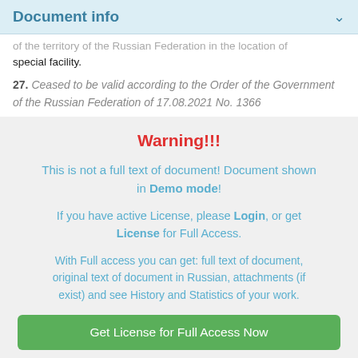Document info
of the territory of the Russian Federation in the location of special facility.
27. Ceased to be valid according to the Order of the Government of the Russian Federation of 17.08.2021 No. 1366
Warning!!! This is not a full text of document! Document shown in Demo mode! If you have active License, please Login, or get License for Full Access. With Full access you can get: full text of document, original text of document in Russian, attachments (if exist) and see History and Statistics of your work.
Get License for Full Access Now